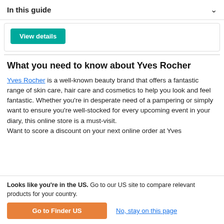In this guide
[Figure (screenshot): Teal 'View details' button inside a card/panel area]
What you need to know about Yves Rocher
Yves Rocher is a well-known beauty brand that offers a fantastic range of skin care, hair care and cosmetics to help you look and feel fantastic. Whether you're in desperate need of a pampering or simply want to ensure you're well-stocked for every upcoming event in your diary, this online store is a must-visit. Want to score a discount on your next online order at Yves
Looks like you're in the US. Go to our US site to compare relevant products for your country.